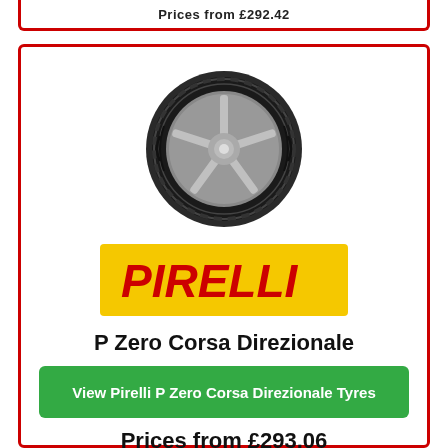Prices from £292.42
[Figure (photo): Pirelli P Zero Corsa Direzionale tyre mounted on a silver wheel, viewed at an angle showing the tread pattern]
[Figure (logo): Pirelli logo: yellow background rectangle with red italic PIRELLI text with stylized P]
P Zero Corsa Direzionale
View Pirelli P Zero Corsa Direzionale Tyres
Prices from £293.06